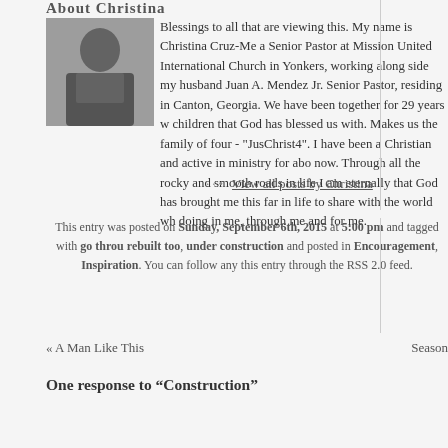About Christina
[Figure (photo): Black and white photo of Christina, a woman with dark hair wearing dark clothing, seated]
Blessings to all that are viewing this. My name is Christina Cruz-Me a Senior Pastor at Mission United International Church in Yonkers, working along side my husband Juan A. Mendez Jr. Senior Pastor, residing in Canton, Georgia. We have been together for 29 years w children that God has blessed us with. Makes us the family of four - "JusChrist4". I have been a Christian and active in ministry for abo now. Through all the rocky and smooth roads in life I am eternally that God has brought me this far in life to share with the world wh doing in me, through me and for me.
View all posts by Christina
This entry was posted on Sunday, September 6th, 2015 at 5:00 pm and tagged with go throu rebuilt too, under construction and posted in Encouragement, Inspiration. You can follow any this entry through the RSS 2.0 feed.
« A Man Like This
Season
One response to “Construction”